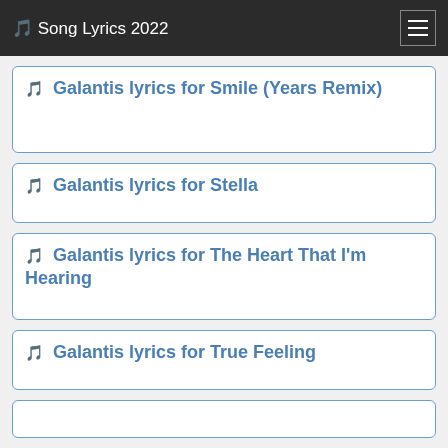🎵 Song Lyrics 2022
🎵 Galantis lyrics for Smile (Years Remix)
🎵 Galantis lyrics for Stella
🎵 Galantis lyrics for The Heart That I'm Hearing
🎵 Galantis lyrics for True Feeling